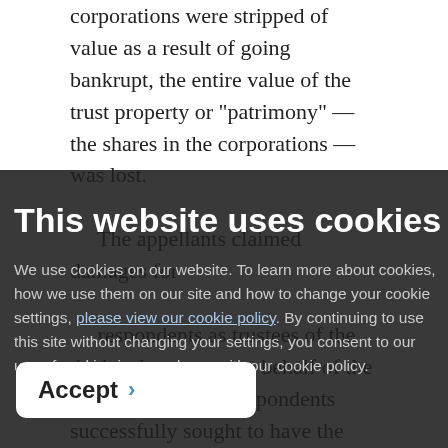corporations were stripped of value as a result of going bankrupt, the entire value of the trust property or "patrimony" — the shares in the corporations — was lost.
The appellants claimed damages for
This website uses cookies
We use cookies on our website. To learn more about cookies, how we use them on our site and how to change your cookie settings, please view our cookie policy. By continuing to use this site without changing your settings, you consent to our use of cookies in accordance with our cookie policy.
respondents as trustees of the depleted trust, not on behalf of the corporations. The respondents successfully sought to have the claim dismissed by the Superior Court of Québec on the basis that the appellants did not have a sufficient interest in the dispute because they were acting as third-
Accept